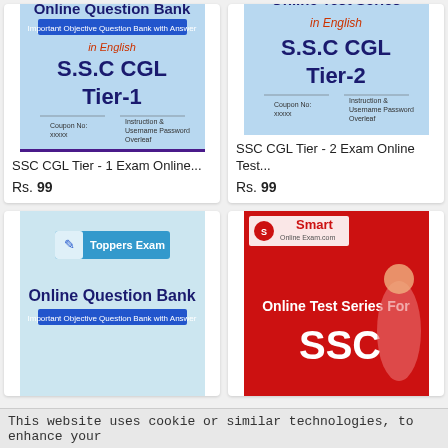[Figure (screenshot): Book cover: Online Question Bank - Important Objective Question Bank with Answer, in English, S.S.C CGL Tier-1, with Coupon No and Instruction & Username Password Overleaf fields, purple banner: Online Questions with Answer]
SSC CGL Tier - 1 Exam Online...
Rs. 99
[Figure (screenshot): Book cover: Online Test Series in English, S.S.C CGL Tier-2, with Coupon No and Instruction & Username Password Overleaf fields, purple banner: Online Test / Exam]
SSC CGL Tier - 2 Exam Online Test...
Rs. 99
[Figure (screenshot): Book cover: Toppers Exam - Online Question Bank, Important Objective Question Bank with Answer]
[Figure (screenshot): Smart Online Exam.com - Online Test Series For SSC, with woman in background on red cover]
This website uses cookie or similar technologies, to enhance your